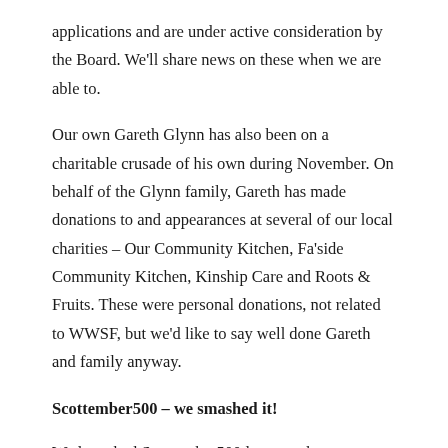applications and are under active consideration by the Board. We'll share news on these when we are able to.
Our own Gareth Glynn has also been on a charitable crusade of his own during November. On behalf of the Glynn family, Gareth has made donations to and appearances at several of our local charities – Our Community Kitchen, Fa'side Community Kitchen, Kinship Care and Roots & Fruits. These were personal donations, not related to WWSF, but we'd like to say well done Gareth and family anyway.
Scottember500 – we smashed it!
We launched Scottember500 last month to collectively raise awareness of the importance of getting out into the fresh air, getting back to nature and keeping both